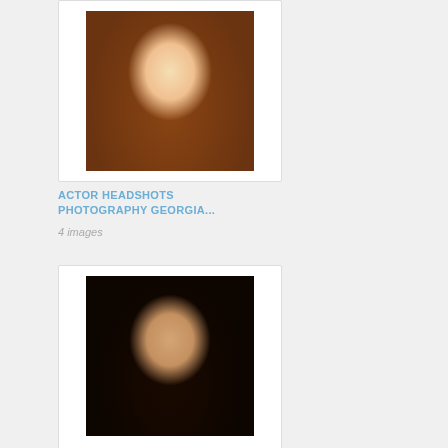[Figure (photo): Headshot of a young woman with long brown hair and blue eyes wearing a dark red top, photographed against a warm brown background]
ACTOR HEADSHOTS PHOTOGRAPHY GEORGIA...
4 images
[Figure (photo): Headshot of a young Asian woman with short black hair, smiling broadly, photographed against a dark blue-grey background]